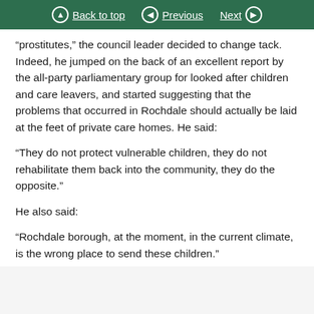Back to top | Previous | Next
“prostitutes,” the council leader decided to change tack. Indeed, he jumped on the back of an excellent report by the all-party parliamentary group for looked after children and care leavers, and started suggesting that the problems that occurred in Rochdale should actually be laid at the feet of private care homes. He said:
“They do not protect vulnerable children, they do not rehabilitate them back into the community, they do the opposite.”
He also said:
“Rochdale borough, at the moment, in the current climate, is the wrong place to send these children.”